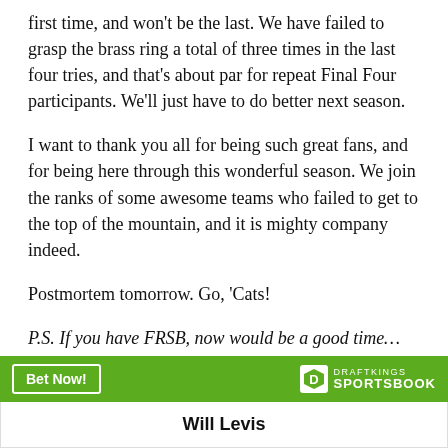first time, and won't be the last. We have failed to grasp the brass ring a total of three times in the last four tries, and that's about par for repeat Final Four participants. We'll just have to do better next season.
I want to thank you all for being such great fans, and for being here through this wonderful season. We join the ranks of some awesome teams who failed to get to the top of the mountain, and it is mighty company indeed.
Postmortem tomorrow. Go, 'Cats!
P.S. If you have FRSB, now would be a good time…
[Figure (other): DraftKings Sportsbook advertisement banner with 'Bet Now!' button and DraftKings Sportsbook logo on green bar, with 'Will Levis' text on white bar below]